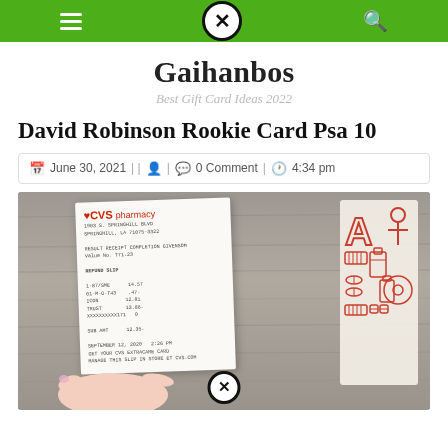Navigation bar with menu, close, and search icons
Gaihanbos
Best Gift Card Ideas 2022
David Robinson Rookie Card Psa 10
June 30, 2021 | | [user icon] | [comment icon] 0 Comment | [clock icon] 4:34 pm
[Figure (photo): A hand holding a CVS pharmacy refund slip receipt against a grey wood background. Red pharmacy icons visible on the bag behind the receipt. A close/X button overlay is visible at the bottom center.]